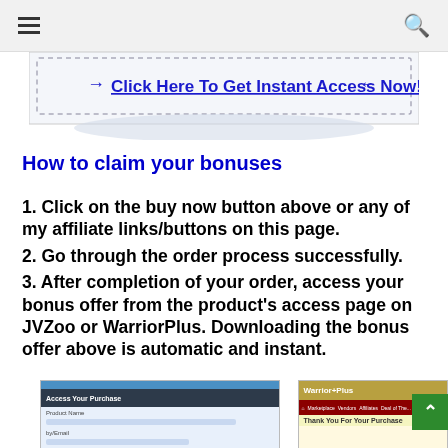☰  🔍
[Figure (screenshot): Button banner with dashed border and text: → Click Here To Get Instant Access Now! ←]
How to claim your bonuses
1. Click on the buy now button above or any of my affiliate links/buttons on this page.
2. Go through the order process successfully.
3. After completion of your order, access your bonus offer from the product's access page on JVZoo or WarriorPlus. Downloading the bonus offer above is automatic and instant.
[Figure (screenshot): Two partial screenshots: left shows JVZoo Access Your Purchase page, right shows Warrior+Plus Thank You For Your Purchase page]